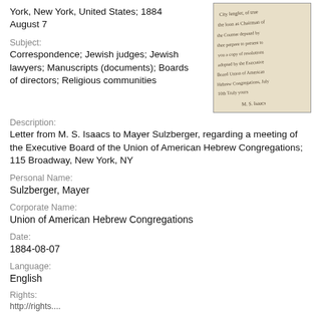York, New York, United States; 1884 August 7
[Figure (photo): Handwritten letter excerpt, cursive script on aged paper]
Subject:
Correspondence; Jewish judges; Jewish lawyers; Manuscripts (documents); Boards of directors; Religious communities
Description:
Letter from M. S. Isaacs to Mayer Sulzberger, regarding a meeting of the Executive Board of the Union of American Hebrew Congregations; 115 Broadway, New York, NY
Personal Name:
Sulzberger, Mayer
Corporate Name:
Union of American Hebrew Congregations
Date:
1884-08-07
Language:
English
Rights:
http://rights...